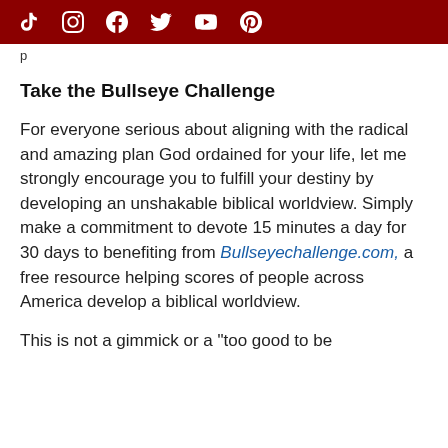Social media icons: TikTok, Instagram, Facebook, Twitter, YouTube, Pinterest
p
Take the Bullseye Challenge
For everyone serious about aligning with the radical and amazing plan God ordained for your life, let me strongly encourage you to fulfill your destiny by developing an unshakable biblical worldview. Simply make a commitment to devote 15 minutes a day for 30 days to benefiting from Bullseyechallenge.com, a free resource helping scores of people across America develop a biblical worldview.
This is not a gimmick or a "too good to be